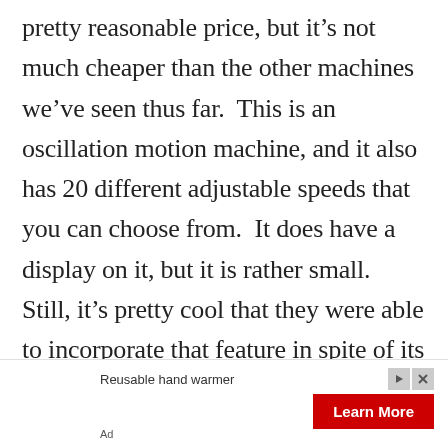pretty reasonable price, but it's not much cheaper than the other machines we've seen thus far.  This is an oscillation motion machine, and it also has 20 different adjustable speeds that you can choose from.  It does have a display on it, but it is rather small.  Still, it's pretty cool that they were able to incorporate that feature in spite of its size.  In terms of platforms, it's not all that big really, but it does allow you to do yoga and stretch on it.  It allows much more freedom of movement
[Figure (other): Advertisement banner: 'Reusable hand warmer' with a red 'Learn More' button and ad controls (play and close icons). Labeled 'Ad' at bottom left.]